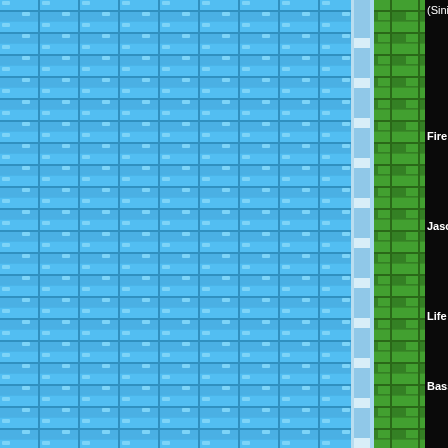[Figure (screenshot): A game/chat screenshot split into two halves. Left side shows a blue brick tile pattern (water/ice themed) with a vertical pipe-joint divider and green brick column. Right side (partially visible) shows a black background chat interface with pixel art game characters: Fireman.EXE, Jason, Life Virus, Bass.EXE, and a partial character at bottom. Text dialogue lines are partially cut off at the right edge: '(Sinister Six.EXE approachi...', 'Fireman.EXE: Join us', 'Jason: *slashes his wa...', 'Life Virus: Fo...', 'Bass.EXE: *approa...' ]